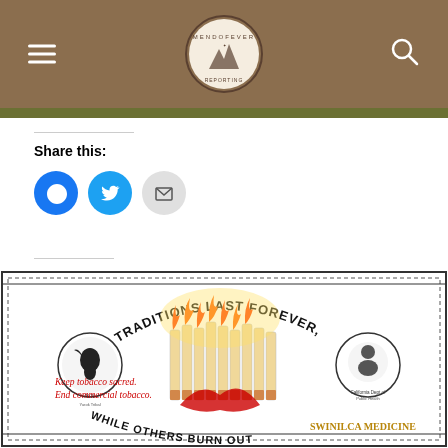MendoFever Reporting
Share this:
Like this:
Be the first to like this.
[Figure (illustration): Tobacco prevention advertisement with decorative border reading 'Some Traditions Last Forever, While Others Burn Out' with burning cigarettes illustration, two circular logos, and text 'Keep tobacco sacred. End commercial tobacco.' and 'Swin-ku Medicine']